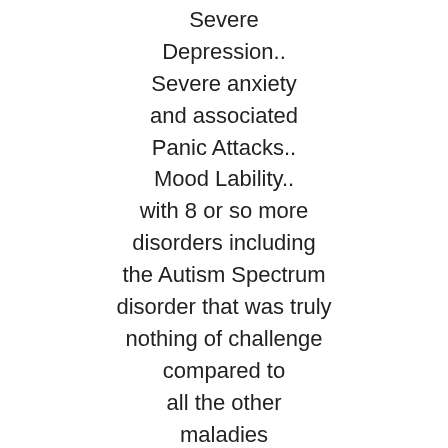Severe Depression.. Severe anxiety and associated Panic Attacks.. Mood Lability.. with 8 or so more disorders including the Autism Spectrum disorder that was truly nothing of challenge compared to all the other maladies in flavor.. the short story is the